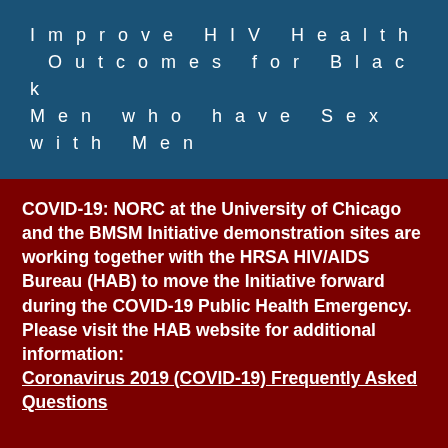Improve HIV Health Outcomes for Black Men who have Sex with Men
COVID-19: NORC at the University of Chicago and the BMSM Initiative demonstration sites are working together with the HRSA HIV/AIDS Bureau (HAB) to move the Initiative forward during the COVID-19 Public Health Emergency. Please visit the HAB website for additional information: Coronavirus 2019 (COVID-19) Frequently Asked Questions